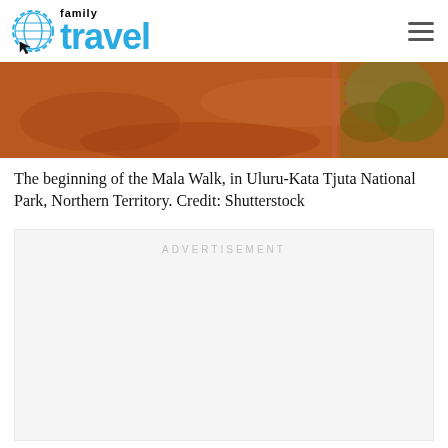family travel
[Figure (photo): Red sandy ground at the beginning of the Mala Walk, Uluru-Kata Tjuta National Park, with sparse desert vegetation visible]
The beginning of the Mala Walk, in Uluru-Kata Tjuta National Park, Northern Territory. Credit: Shutterstock
ADVERTISEMENT